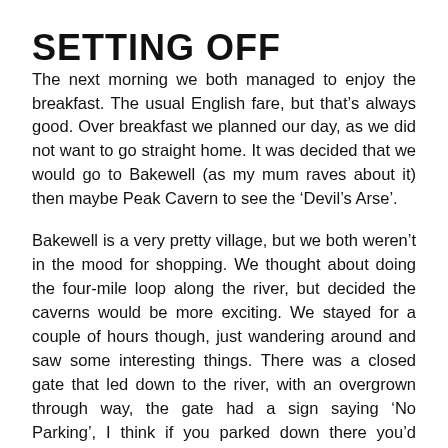SETTING OFF
The next morning we both managed to enjoy the breakfast. The usual English fare, but that’s always good. Over breakfast we planned our day, as we did not want to go straight home. It was decided that we would go to Bakewell (as my mum raves about it) then maybe Peak Cavern to see the ‘Devil’s Arse’.
Bakewell is a very pretty village, but we both weren’t in the mood for shopping. We thought about doing the four-mile loop along the river, but decided the caverns would be more exciting. We stayed for a couple of hours though, just wandering around and saw some interesting things. There was a closed gate that led down to the river, with an overgrown through way, the gate had a sign saying ‘No Parking’, I think if you parked down there you’d never get out!
By the river there were tens of people stood next to the ‘Don’t feed the ducks’ sign (which gave several environmental reasons why not to feed the ducks) and what were they doing? You